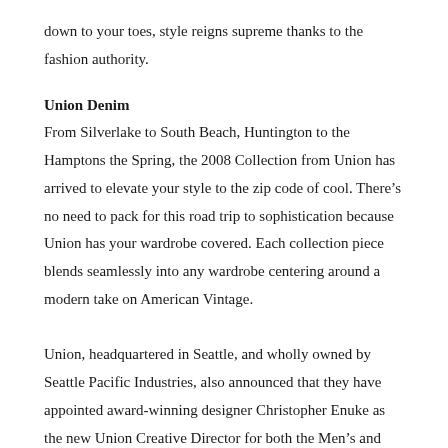down to your toes, style reigns supreme thanks to the fashion authority.
Union Denim
From Silverlake to South Beach, Huntington to the Hamptons the Spring, the 2008 Collection from Union has arrived to elevate your style to the zip code of cool. There’s no need to pack for this road trip to sophistication because Union has your wardrobe covered. Each collection piece blends seamlessly into any wardrobe centering around a modern take on American Vintage.

Union, headquartered in Seattle, and wholly owned by Seattle Pacific Industries, also announced that they have appointed award-winning designer Christopher Enuke as the new Union Creative Director for both the Men’s and Women’s collections. Enuke, who founded the exquisite Oliver Twist/ Oligo Tissew collection, brings over 20 years of design experience. He is regarded as one of today’s most respected and influential designers coming out of Los Angeles. As